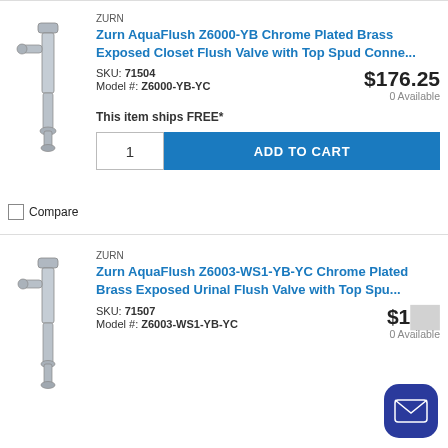[Figure (photo): Chrome plated brass flush valve product image, first item]
ZURN
Zurn AquaFlush Z6000-YB Chrome Plated Brass Exposed Closet Flush Valve with Top Spud Conne...
SKU: 71504
Model #: Z6000-YB-YC
$176.25
0 Available
This item ships FREE*
1
ADD TO CART
Compare
[Figure (photo): Chrome plated brass urinal flush valve product image, second item]
ZURN
Zurn AquaFlush Z6003-WS1-YB-YC Chrome Plated Brass Exposed Urinal Flush Valve with Top Spu...
SKU: 71507
Model #: Z6003-WS1-YB-YC
$1...
0 Available